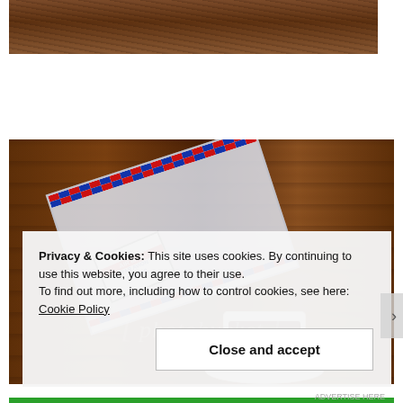[Figure (photo): Top portion of a photo showing a brown leather couch or seat background]
[Figure (photo): Photo of an airmail envelope on a wooden table background with a coffee cup and saucer, with a Photobucket watermark overlay]
Privacy & Cookies: This site uses cookies. By continuing to use this website, you agree to their use.
To find out more, including how to control cookies, see here: Cookie Policy
Close and accept